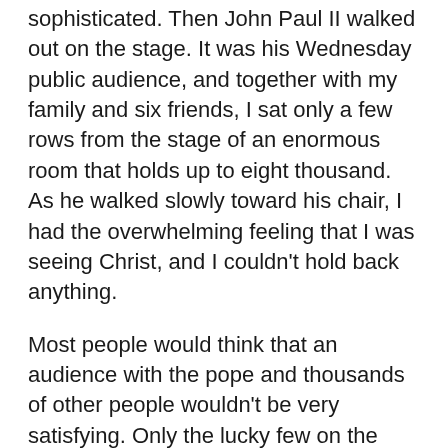sophisticated. Then John Paul II walked out on the stage. It was his Wednesday public audience, and together with my family and six friends, I sat only a few rows from the stage of an enormous room that holds up to eight thousand. As he walked slowly toward his chair, I had the overwhelming feeling that I was seeing Christ, and I couldn't hold back anything.
Most people would think that an audience with the pope and thousands of other people wouldn't be very satisfying. Only the lucky few on the prima fila, the first row, get to shake his hand afterward. But sitting there among Catholic groups from around the world, hearing them sing to the pope in over a dozen